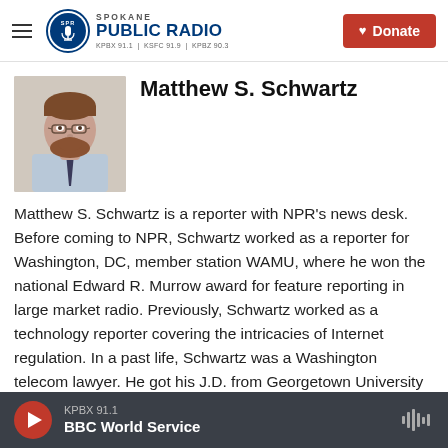Spokane Public Radio — KPBX 91.1 | KSFC 91.9 | KPBZ 90.3 — Donate
Matthew S. Schwartz
[Figure (photo): Headshot photo of Matthew S. Schwartz, a man with short brown hair, glasses, and a beard, wearing a light blue shirt and dark tie.]
Matthew S. Schwartz is a reporter with NPR's news desk. Before coming to NPR, Schwartz worked as a reporter for Washington, DC, member station WAMU, where he won the national Edward R. Murrow award for feature reporting in large market radio. Previously, Schwartz worked as a technology reporter covering the intricacies of Internet regulation. In a past life, Schwartz was a Washington telecom lawyer. He got his J.D. from Georgetown University Law Center, and his B.A. from the University of Michigan
KPBX 91.1 — BBC World Service